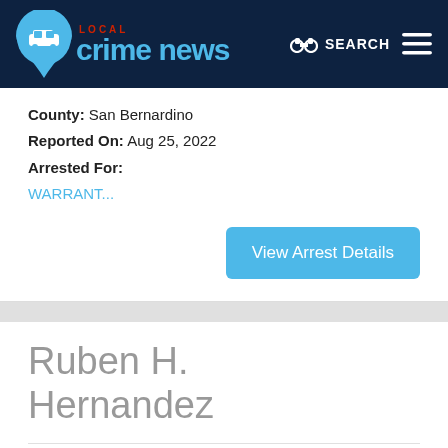LOCAL Crime News — SEARCH
County: San Bernardino
Reported On: Aug 25, 2022
Arrested For:
WARRANT...
View Arrest Details
Ruben H. Hernandez
Age: 44 – San Bernardino, CA
County: Los Angeles